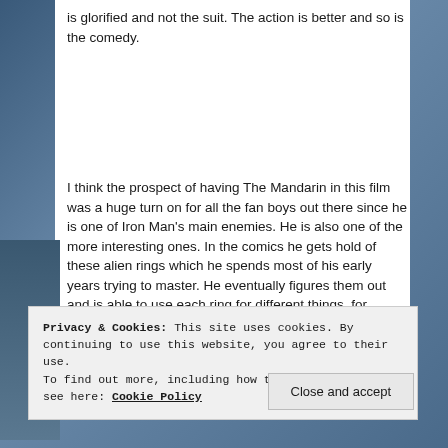is glorified and not the suit. The action is better and so is the comedy.
I think the prospect of having The Mandarin in this film was a huge turn on for all the fan boys out there since he is one of Iron Man's main enemies. He is also one of the more interesting ones. In the comics he gets hold of these alien rings which he spends most of his early years trying to master. He eventually figures them out and is able to use each ring for different things, for
Privacy & Cookies: This site uses cookies. By continuing to use this website, you agree to their use.
To find out more, including how to control cookies, see here: Cookie Policy
Close and accept